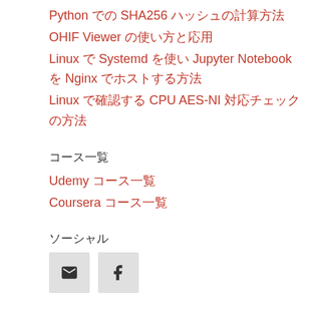Python での SHA256 ハッシュの計算方法
OHIF Viewer の使い方と応用
Linux で Systemd を使い Jupyter Notebook を Nginx でホストする方法
Linux で確認する CPU AES-NI 対応チェックの方法
コース一覧
Udemy コース一覧
Coursera コース一覧
ソーシャル
[Figure (illustration): Email icon and Facebook icon buttons]
検索